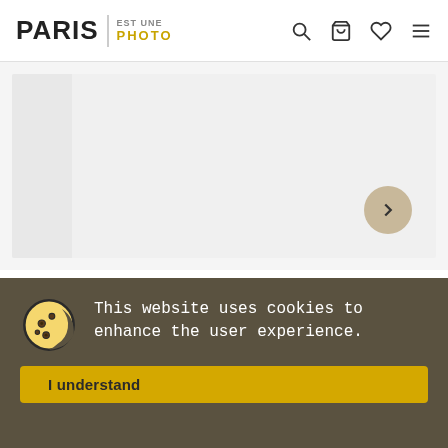PARIS | EST UNE PHOTO
[Figure (screenshot): Gray placeholder image area with a thumbnail strip on the left and a circular arrow navigation button on the bottom right]
Comments :
0/5 ☆☆☆☆☆  0 Reviews
This website uses cookies to enhance the user experience.
I understand